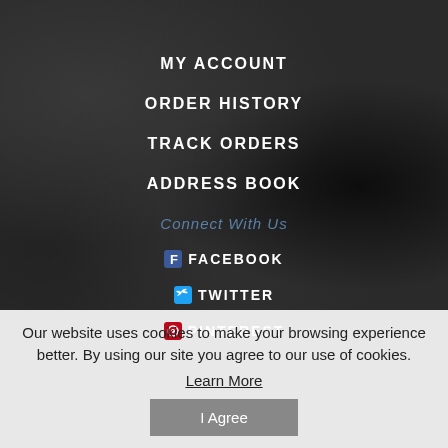MY ACCOUNT
ORDER HISTORY
TRACK ORDERS
ADDRESS BOOK
Connect With Us
FACEBOOK
TWITTER
PINTEREST
Our website uses cookies to make your browsing experience better. By using our site you agree to our use of cookies. Learn More
I Agree